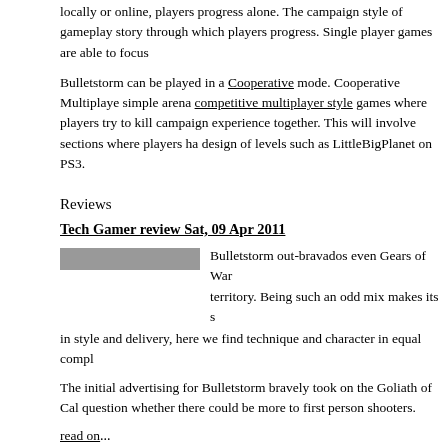locally or online, players progress alone. The campaign style of gameplay story through which players progress. Single player games are able to focus
Bulletstorm can be played in a Cooperative mode. Cooperative Multiplaye simple arena competitive multiplayer style games where players try to kill campaign experience together. This will involve sections where players ha design of levels such as LittleBigPlanet on PS3.
Reviews
Tech Gamer review Sat, 09 Apr 2011
Bulletstorm out-bravados even Gears of War territory. Being such an odd mix makes its s in style and delivery, here we find technique and character in equal compl
The initial advertising for Bulletstorm bravely took on the Goliath of Cal question whether there could be more to first person shooters.
read on...
Family Gamer review Mon, 10 Jan 2011
Bulletstorm is the perfect juvenile mix of ki more interesting and important games fo exuberance on display here is inspiring.